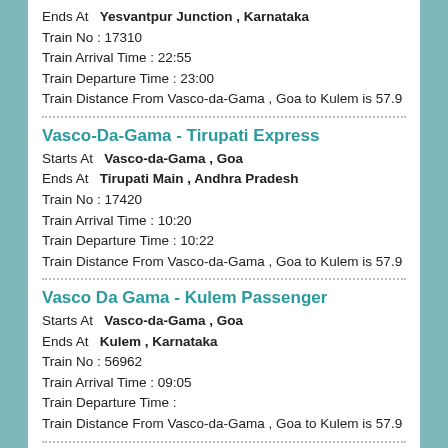Ends At   Yesvantpur Junction , Karnataka
Train No : 17310
Train Arrival Time : 22:55
Train Departure Time : 23:00
Train Distance From Vasco-da-Gama , Goa to Kulem is 57.9
Vasco-Da-Gama - Tirupati Express
Starts At   Vasco-da-Gama , Goa
Ends At   Tirupati Main , Andhra Pradesh
Train No : 17420
Train Arrival Time : 10:20
Train Departure Time : 10:22
Train Distance From Vasco-da-Gama , Goa to Kulem is 57.9
Vasco Da Gama - Kulem Passenger
Starts At   Vasco-da-Gama , Goa
Ends At   Kulem , Karnataka
Train No : 56962
Train Arrival Time : 09:05
Train Departure Time :
Train Distance From Vasco-da-Gama , Goa to Kulem is 57.9
Vasco Da Gama - Hyderabad (Weekly) Express
Starts At   Vasco-da-Gama , Goa
Ends At   Hyderabad Deccan Nampally , Andhra Pradesh